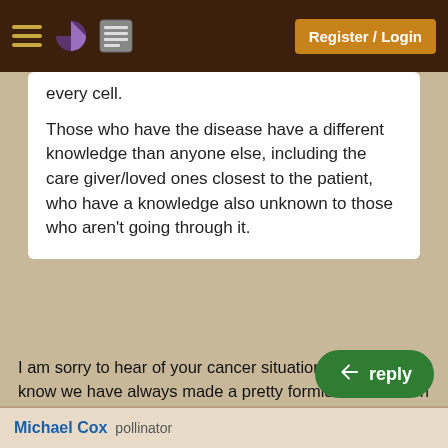Register / Login
every cell.
Those who have the disease have a different knowledge than anyone else, including the care giver/loved ones closest to the patient, who have a knowledge also unknown to those who aren't going through it.
I am sorry to hear of your cancer situation Redhawk. I know we have always made a pretty formidable team on Permies (in my opinion anyway) because of our fellow Indian heritage and understanding of farming. Sadly, last night my Endocrinologist called me and instructed me to contact my regular Dr immediately; it appears the cancer has moved to my liver.  It is not ne... death sentence for me; but the plot defin...
Michael Cox  pollinator